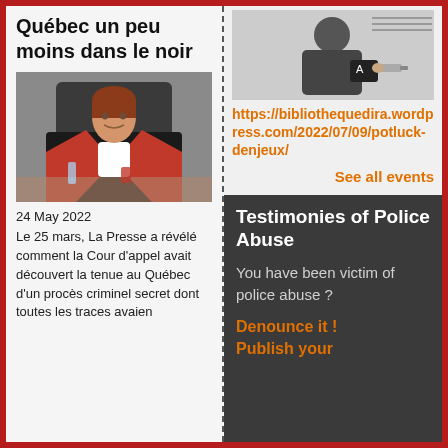Québec un peu moins dans le noir
[Figure (photo): Photo of a judge in red and black robes seated at a desk]
24 May 2022
Le 25 mars, La Presse a révélé comment la Cour d'appel avait découvert la tenue au Québec d'un procès criminel secret dont toutes les traces avaien
[Figure (illustration): Cartoon illustration of a figure in dark robes with a bag and USB key]
https://bibliothequedira.wordpress.com/2022/07/09/potluck-denjeux/
See all events
Testimonies of Police Abuse
You have been victim of police abuse ?
Denounce it ! Publish your